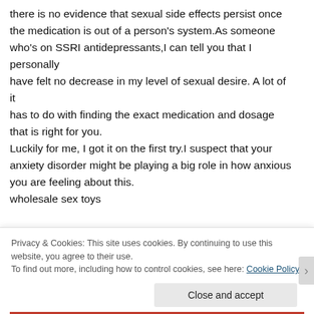there is no evidence that sexual side effects persist once the medication is out of a person's system.As someone who's on SSRI antidepressants,I can tell you that I personally have felt no decrease in my level of sexual desire. A lot of it has to do with finding the exact medication and dosage that is right for you. Luckily for me, I got it on the first try.I suspect that your anxiety disorder might be playing a big role in how anxious you are feeling about this. wholesale sex toys
Privacy & Cookies: This site uses cookies. By continuing to use this website, you agree to their use. To find out more, including how to control cookies, see here: Cookie Policy
Close and accept